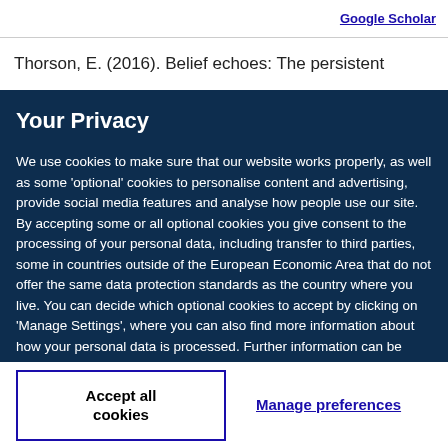Google Scholar
Thorson, E. (2016). Belief echoes: The persistent
Your Privacy
We use cookies to make sure that our website works properly, as well as some ‘optional’ cookies to personalise content and advertising, provide social media features and analyse how people use our site. By accepting some or all optional cookies you give consent to the processing of your personal data, including transfer to third parties, some in countries outside of the European Economic Area that do not offer the same data protection standards as the country where you live. You can decide which optional cookies to accept by clicking on ‘Manage Settings’, where you can also find more information about how your personal data is processed. Further information can be found in our privacy policy.
Accept all cookies
Manage preferences